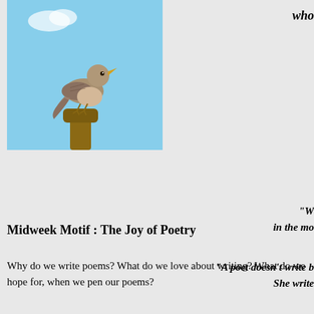[Figure (photo): A bird (nightingale or similar songbird) perched on a branch with beak open as if singing, against a blue sky background]
who
"W... in the mo...
"A poet doesn't write b... She write...
Midweek Motif : The Joy of Poetry
Why do we write poems? What do we love about writing? What do we hope for, when we pen our poems?